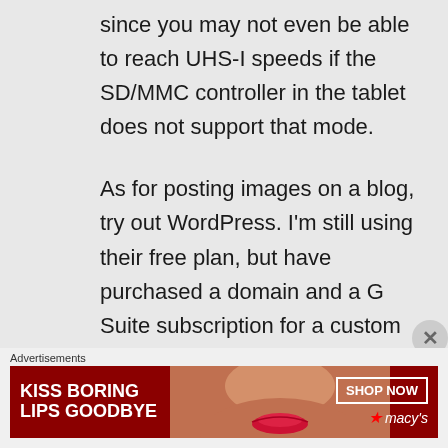since you may not even be able to reach UHS-I speeds if the SD/MMC controller in the tablet does not support that mode.

As for posting images on a blog, try out WordPress. I'm still using their free plan, but have purchased a domain and a G Suite subscription for a custom email address.

Best of luck on the
Advertisements
[Figure (other): Advertisement banner for Macy's lipstick promotion. Red background with text 'KISS BORING LIPS GOODBYE', an image of a woman's lips, a 'SHOP NOW' button, and the Macy's star logo.]